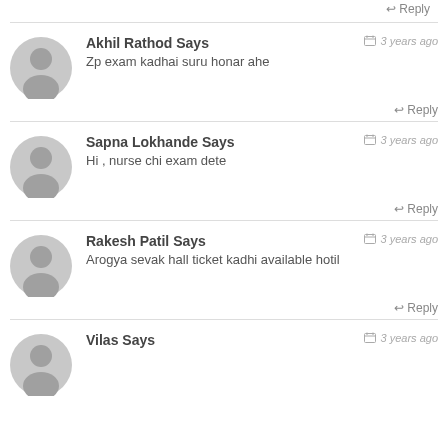↩ Reply
Akhil Rathod Says — 3 years ago
Zp exam kadhai suru honar ahe
↩ Reply
Sapna Lokhande Says — 3 years ago
Hi , nurse chi exam dete
↩ Reply
Rakesh Patil Says — 3 years ago
Arogya sevak hall ticket kadhi available hotil
↩ Reply
Vilas Says — 3 years ago